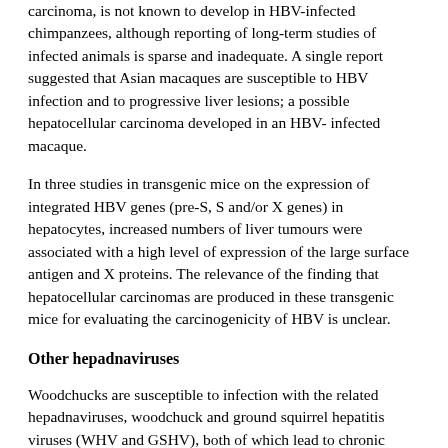carcinoma, is not known to develop in HBV-infected chimpanzees, although reporting of long-term studies of infected animals is sparse and inadequate. A single report suggested that Asian macaques are susceptible to HBV infection and to progressive liver lesions; a possible hepatocellular carcinoma developed in an HBV-infected macaque.
In three studies in transgenic mice on the expression of integrated HBV genes (pre-S, S and/or X genes) in hepatocytes, increased numbers of liver tumours were associated with a high level of expression of the large surface antigen and X proteins. The relevance of the finding that hepatocellular carcinomas are produced in these transgenic mice for evaluating the carcinogenicity of HBV is unclear.
Other hepadnaviruses
Woodchucks are susceptible to infection with the related hepadnaviruses, woodchuck and ground squirrel hepatitis viruses (WHV and GSHV), both of which lead to chronic hepatitis but not to cirrhosis. In one study of naturally infected, captive adults, one study of experimentally infected adults and newborns and one study of experimentally infected newborns, infection with WHV was associated with development of hepatocellular carcinoma in up to 85% of woodchucks with chronic infection. Uninfected